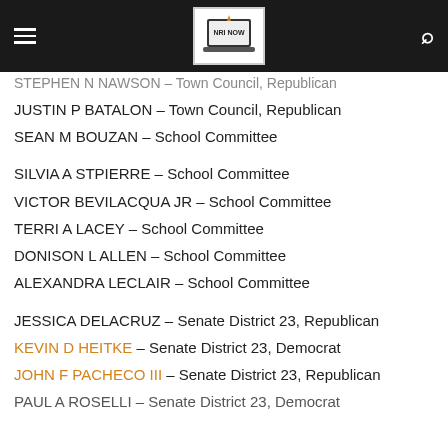[Figure (logo): NRI NOW website logo with laptop icon on dark header bar with hamburger menu and search icon]
STEPHEN N NAWSON – Town Council, Republican
JUSTIN P BATALON – Town Council, Republican
SEAN M BOUZAN – School Committee
SILVIA A STPIERRE – School Committee
VICTOR BEVILACQUA JR – School Committee
TERRI A LACEY – School Committee
DONISON L ALLEN – School Committee
ALEXANDRA LECLAIR – School Committee
JESSICA DELACRUZ – Senate District 23, Republican
KEVIN D HEITKE – Senate District 23, Democrat
JOHN F PACHECO III – Senate District 23, Republican
PAUL A ROSELLI – Senate District 23, Democrat